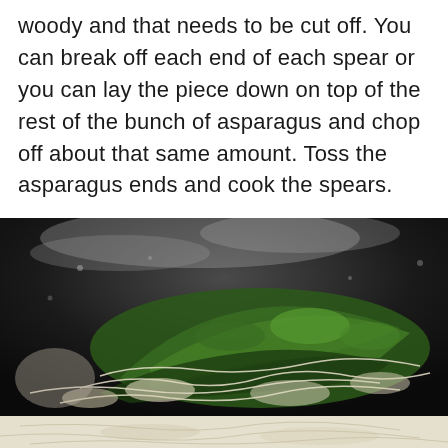woody and that needs to be cut off. You can break off each end of each spear or you can lay the piece down on top of the rest of the bunch of asparagus and chop off about that same amount. Toss the asparagus ends and cook the spears.
[Figure (photo): Photo of asparagus spears cooking in a dark pan with melted cheese or butter, shot from above at close range. The asparagus is bright green with white cheese/butter strands around it. Dark pan background with steam/moisture visible.]
[Figure (photo): Bottom portion of a close-up photo showing light-colored shredded cheese or similar ingredient on a pale surface.]